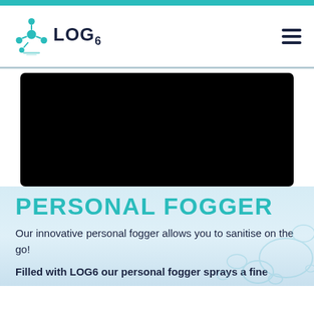[Figure (logo): LOG6 teal molecular logo with molecule icon and text LOG6]
[Figure (screenshot): Black video player area embedded on the page]
PERSONAL FOGGER
Our innovative personal fogger allows you to sanitise on the go!
Filled with LOG6 our personal fogger sprays a fine